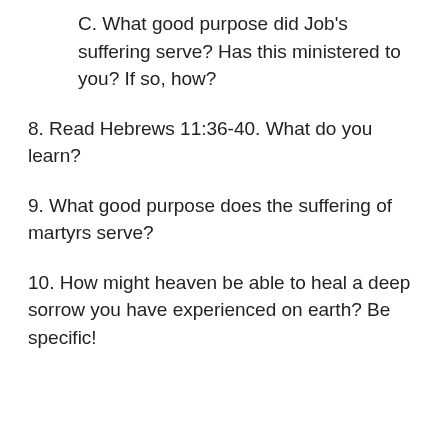C. What good purpose did Job's suffering serve? Has this ministered to you? If so, how?
8. Read Hebrews 11:36-40. What do you learn?
9. What good purpose does the suffering of martyrs serve?
10. How might heaven be able to heal a deep sorrow you have experienced on earth? Be specific!